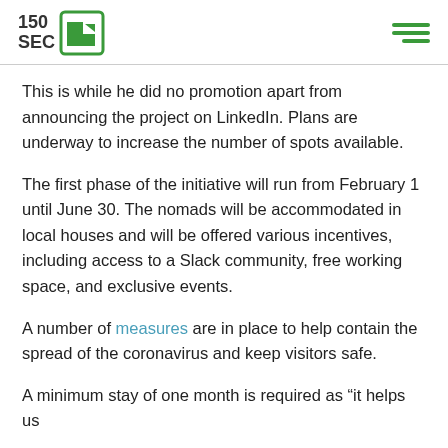150SEC [logo]
This is while he did no promotion apart from announcing the project on LinkedIn. Plans are underway to increase the number of spots available.
The first phase of the initiative will run from February 1 until June 30. The nomads will be accommodated in local houses and will be offered various incentives, including access to a Slack community, free working space, and exclusive events.
A number of measures are in place to help contain the spread of the coronavirus and keep visitors safe.
A minimum stay of one month is required as “it helps us